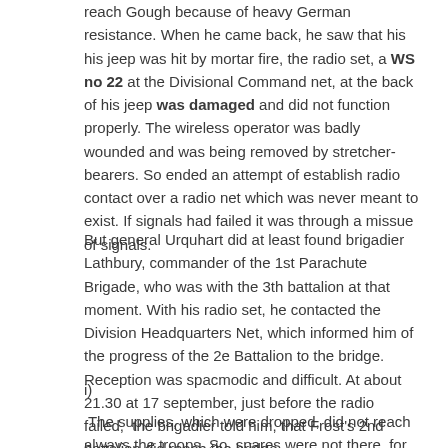reach Gough because of heavy German resistance. When he came back, he saw that his his jeep was hit by mortar fire, the radio set, a WS no 22 at the Divisional Command net, at the back of his jeep was damaged and did not function properly. The wireless operator was badly wounded and was being removed by stretcher-bearers. So ended an attempt of establish radio contact over a radio net which was never meant to exist. If signals had failed it was through a missue of signals.
But general Urquhart did at least found brigadier Lathbury, commander of the 1st Parachute Brigade, who was with the 3th battalion at that moment. With his radio set, he contacted the Division Headquarters Net, which informed him of the progress of the 2e Battalion to the bridge. Reception was spacmodic and difficult. At about 21.30 at 17 september, just before the radio failed,  the brigadier told him, that Frost's 2nd battalion did reach the bridge.
i)
The supplies, which were dropped, did not reach always the troops. So, spares were not there, for instance  weapons and other like the replacement of crystals for the radio transmitters.